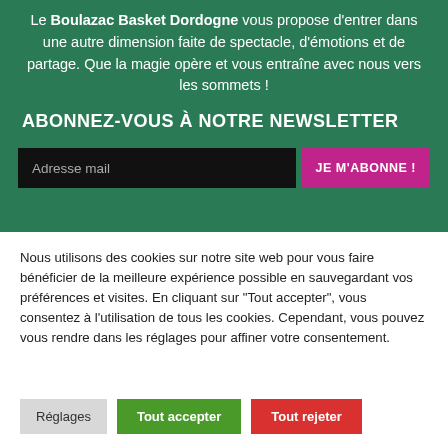Le Boulazac Basket Dordogne vous propose d'entrer dans une autre dimension faite de spectacle, d'émotions et de partage. Que la magie opère et vous entraîne avec nous vers les sommets !
ABONNEZ-VOUS À NOTRE NEWSLETTER
Adresse mail
JE M'ABONNE !
Nous utilisons des cookies sur notre site web pour vous faire bénéficier de la meilleure expérience possible en sauvegardant vos préférences et visites. En cliquant sur "Tout accepter", vous consentez à l'utilisation de tous les cookies. Cependant, vous pouvez vous rendre dans les réglages pour affiner votre consentement.
Réglages
Tout accepter
Tout rejeter